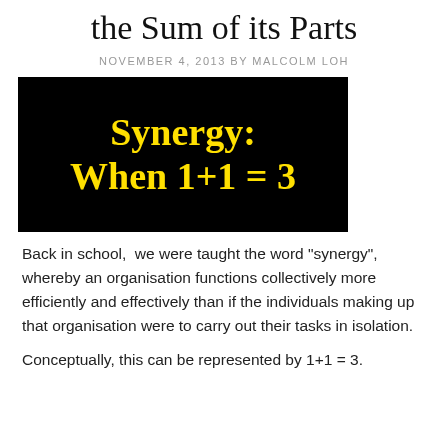the Sum of its Parts
NOVEMBER 4, 2013 BY MALCOLM LOH
[Figure (illustration): Black background image with yellow bold text reading 'Synergy: When 1+1 = 3' in a rounded handwritten font]
Back in school,  we were taught the word "synergy", whereby an organisation functions collectively more efficiently and effectively than if the individuals making up that organisation were to carry out their tasks in isolation.
Conceptually, this can be represented by 1+1 = 3.